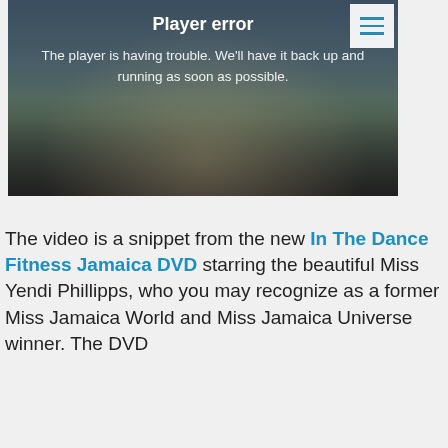[Figure (screenshot): Video player showing player error message overlaid on a beach fitness scene. A white hamburger menu button is in the top-right corner. Text reads 'Player error' and 'The player is having trouble. We'll have it back up and running as soon as possible.']
The video is a snippet from the new In The Dance Fitness Jamaica DVD starring the beautiful Miss Yendi Phillipps, who you may recognize as a former Miss Jamaica World and Miss Jamaica Universe winner. The DVD